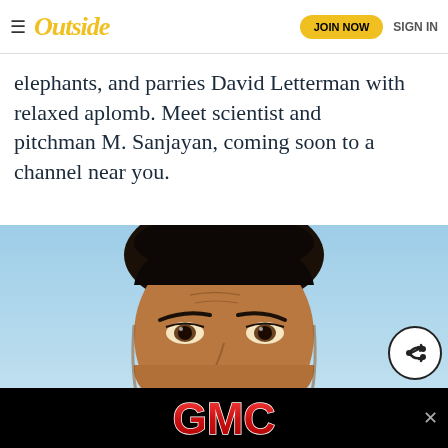Outside | JOIN NOW | SIGN IN
elephants, and parries David Letterman with relaxed aplomb. Meet scientist and pitchman M. Sanjayan, coming soon to a channel near you.
[Figure (photo): Close-up photo of M. Sanjayan looking upward, against a blue sky background]
[Figure (logo): GMC logo advertisement banner on black background]